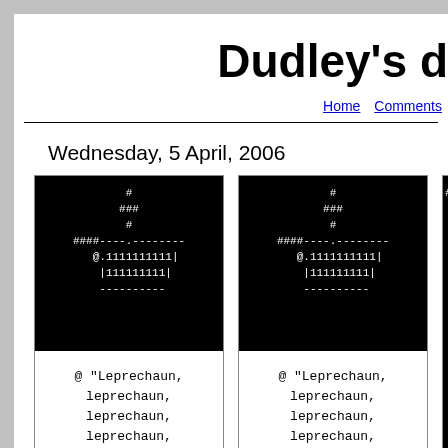Dudley's d
Home   Comments
Wednesday, 5 April, 2006
[Figure (screenshot): Two ASCII art images on black backgrounds showing a leprechaun figure made of # and other characters, with white text on black. Below each image is white background with monospace text: @ "Leprechaun, leprechaun, leprechaun, leprechaun, leprechaun,..."]
@ "Leprechaun, leprechaun, leprechaun, leprechaun, leprechaun,..."